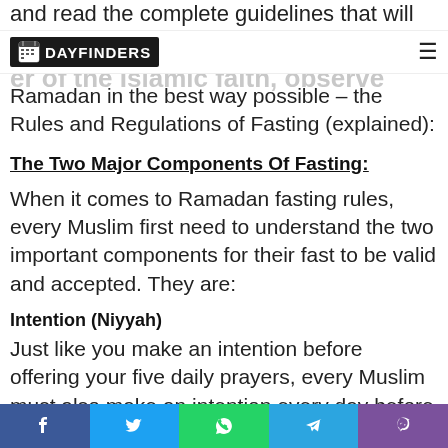and read the complete guidelines that will surely
DAY FINDERS
er of the Islamic faith, observe Ramadan in the best way possible – the Rules and Regulations of Fasting (explained):
The Two Major Components Of Fasting:
When it comes to Ramadan fasting rules, every Muslim first need to understand the two important components for their fast to be valid and accepted. They are:
Intention (Niyyah)
Just like you make an intention before offering your five daily prayers, every Muslim must also make an intention every day before fasting during the month of Ramadan. The intention (known as Niyyah in
f  t  ⊕  ✈  ☎